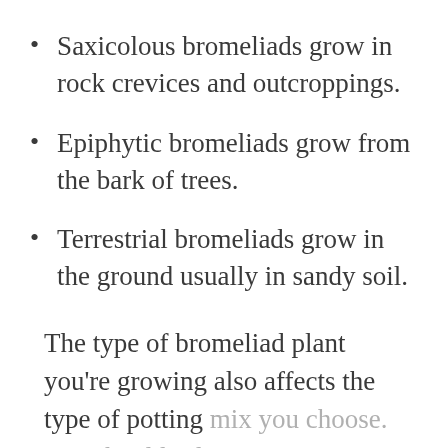Saxicolous bromeliads grow in rock crevices and outcroppings.
Epiphytic bromeliads grow from the bark of trees.
Terrestrial bromeliads grow in the ground usually in sandy soil.
The type of bromeliad plant you're growing also affects the type of potting mix you choose. You should select or create a potting mix that's most